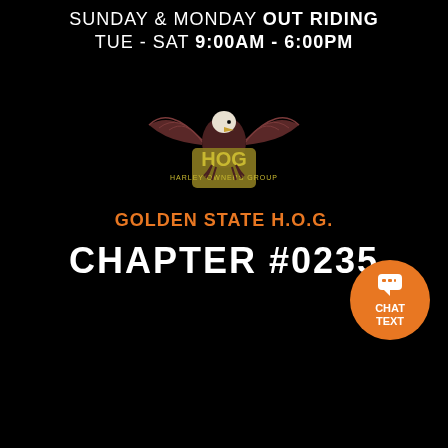SUNDAY & MONDAY OUT RIDING
TUE - SAT 9:00AM - 6:00PM
[Figure (logo): H.O.G. (Harley Owners Group) logo: eagle with spread wings above the HOG letters and shield, brown/maroon and gold colors on black background]
GOLDEN STATE H.O.G.
CHAPTER #0235
[Figure (infographic): Orange circular chat/text button with speech bubble icon, labeled CHAT TEXT]